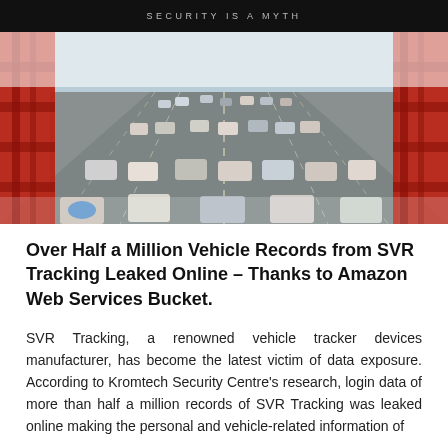SECURITY IS A MYTH
[Figure (photo): Aerial/overhead view of cars on a highway bridge with red structural girders on both sides, tilt-shift photography effect making cars look like toys]
Over Half a Million Vehicle Records from SVR Tracking Leaked Online – Thanks to Amazon Web Services Bucket.
SVR Tracking, a renowned vehicle tracker devices manufacturer, has become the latest victim of data exposure. According to Kromtech Security Centre's research, login data of more than half a million records of SVR Tracking was leaked online making the personal and vehicle-related information of